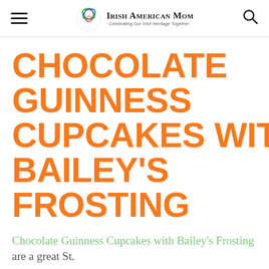Irish American Mom · Celebrating Our Irish Heritage Together
CHOCOLATE GUINNESS CUPCAKES WITH BAILEY'S FROSTING
Chocolate Guinness Cupcakes with Bailey's Frosting are a great St.